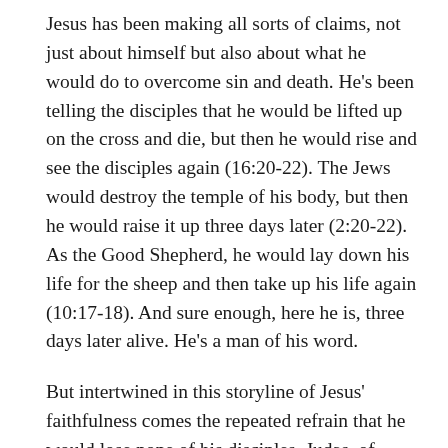Jesus has been making all sorts of claims, not just about himself but also about what he would do to overcome sin and death. He's been telling the disciples that he would be lifted up on the cross and die, but then he would rise and see the disciples again (16:20-22). The Jews would destroy the temple of his body, but then he would raise it up three days later (2:20-22). As the Good Shepherd, he would lay down his life for the sheep and then take up his life again (10:17-18). And sure enough, here he is, three days later alive. He's a man of his word.
But intertwined in this storyline of Jesus' faithfulness comes the repeated refrain that he would lose none of his disciples. Judas, of course, went out to fulfill the Scriptures, but the remaining Eleven, Jesus would not lose. He would lose nothing of all that the Father had given him (6:39). No one will snatch his sheep out of his hand (10:28). He guards his disciples, keeps them in the